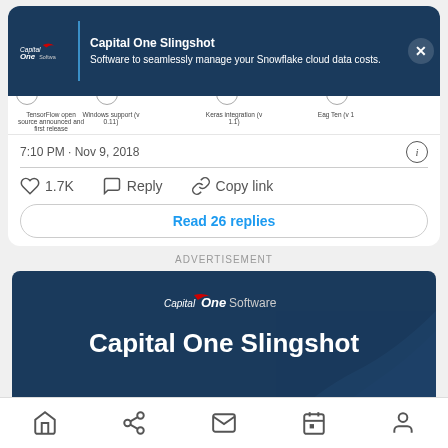[Figure (screenshot): Partial timeline screenshot showing TensorFlow milestones with overlaid Capital One Slingshot advertisement banner]
7:10 PM · Nov 9, 2018
1.7K  Reply  Copy link
Read 26 replies
ADVERTISEMENT
[Figure (screenshot): Capital One Software advertisement banner showing Capital One Slingshot logo and title text on dark blue background]